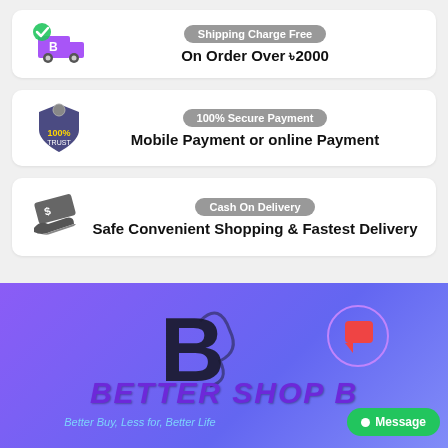[Figure (infographic): Shipping delivery card with purple truck icon, badge 'Shipping Charge Free', text 'On Order Over ৳2000']
[Figure (infographic): Secure payment card with shield badge icon, badge '100% Secure Payment', text 'Mobile Payment or online Payment']
[Figure (infographic): Cash on delivery card with hand holding money icon, badge 'Cash On Delivery', text 'Safe Convenient Shopping & Fastest Delivery']
[Figure (logo): Better Shop BD logo section with purple/blue gradient background, stylized B logo, brand name BETTER SHOP BD, subtitle text, and green Message button]